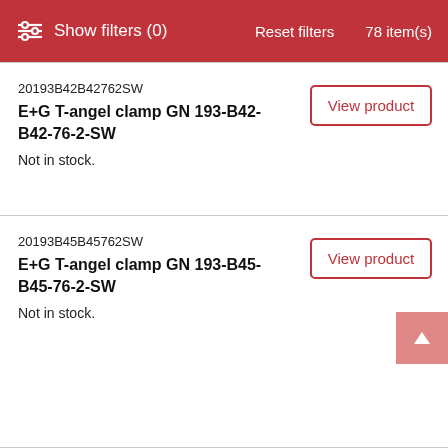Show filters (0)   Reset filters   78 item(s)
20193B42B42762SW
E+G T-angel clamp GN 193-B42-B42-76-2-SW
Not in stock.
20193B45B45762SW
E+G T-angel clamp GN 193-B45-B45-76-2-SW
Not in stock.